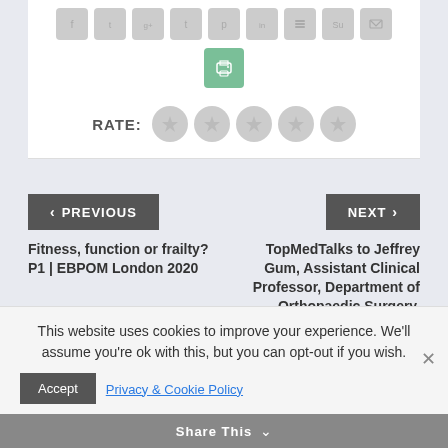[Figure (other): Row of social sharing icon buttons (Facebook, Twitter, Google+, Tumblr, Pinterest, LinkedIn, Buffer, StumbleUpon, Email) in gray rounded squares, plus a print icon button in green/teal below]
RATE:  ★ ★ ★ ★ ★
< PREVIOUS
NEXT >
Fitness, function or frailty? P1 | EBPOM London 2020
TopMedTalks to Jeffrey Gum, Assistant Clinical Professor, Department of Orthopaedic Surgery, University of Louisville, Spine Surgeon, Leatherman
This website uses cookies to improve your experience. We'll assume you're ok with this, but you can opt-out if you wish.
Accept
Privacy & Cookie Policy
Share This